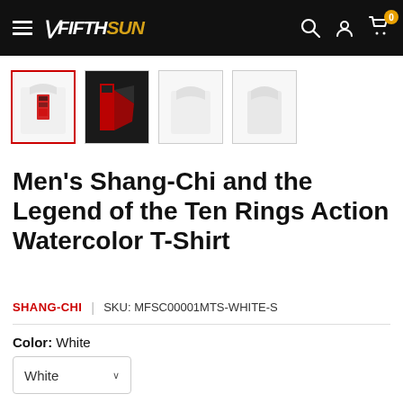Fifth Sun navigation bar with hamburger menu, logo, search, account, and cart icons
[Figure (photo): Four product thumbnail images of a white Shang-Chi t-shirt from different angles; first thumbnail has red border indicating selection]
Men's Shang-Chi and the Legend of the Ten Rings Action Watercolor T-Shirt
SHANG-CHI | SKU: MFSC00001MTS-WHITE-S
Color: White
White